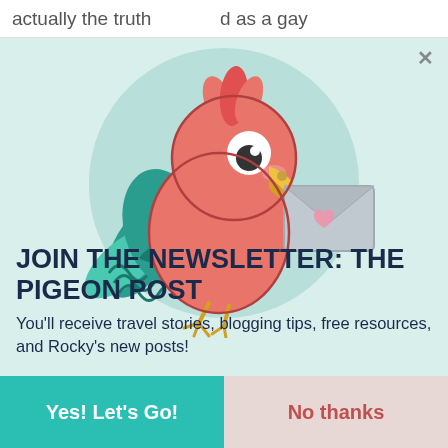actually the truth   d as a gay
[Figure (illustration): Cartoon pink/red parrot holding an envelope with a heart on it, inside a teal circular background. The bird has blue-green tail feathers and a yellow beak.]
JOIN THE NEWSLETTER: THE PIGEON POST
You'll receive travel stories, blogging tips, free resources, and Rocky's new posts!
Yes! Let's Go!
No thanks